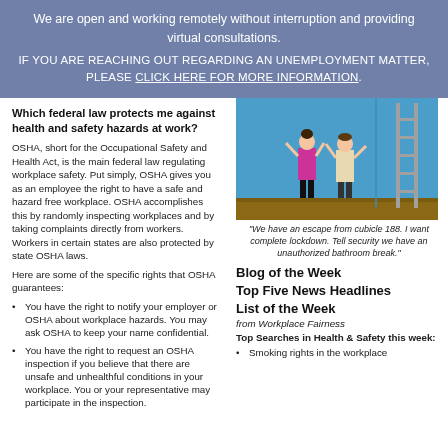We are open and working remotely without interruption and providing virtual consultations. IF YOU ARE REACHING OUT REGARDING AN UNEMPLOYMENT MATTER, PLEASE CLICK HERE FOR MORE INFORMATION.
Which federal law protects me against health and safety hazards at work?
OSHA, short for the Occupational Safety and Health Act, is the main federal law regulating workplace safety. Put simply, OSHA gives you as an employee the right to have a safe and hazard free workplace. OSHA accomplishes this by randomly inspecting workplaces and by taking complaints directly from workers. Workers in certain states are also protected by state OSHA laws.
Here are some of the specific rights that OSHA guarantees:
You have the right to notify your employer or OSHA about workplace hazards. You may ask OSHA to keep your name confidential.
You have the right to request an OSHA inspection if you believe that there are unsafe and unhealthful conditions in your workplace. You or your representative may participate in the inspection.
You can file a complaint with OSHA within 30 days of discrimination by your
[Figure (illustration): Illustration of two people (one in pink/magenta outfit, one in beige) near a ladder against a blue wall with a brown floor]
"We have an escape from cubicle 188. I want complete lockdown. Tell security we have an unauthorized bathroom break."
Blog of the Week
Top Five News Headlines
List of the Week
from Workplace Fairness
Top Searches in Health & Safety this week:
Smoking rights in the workplace